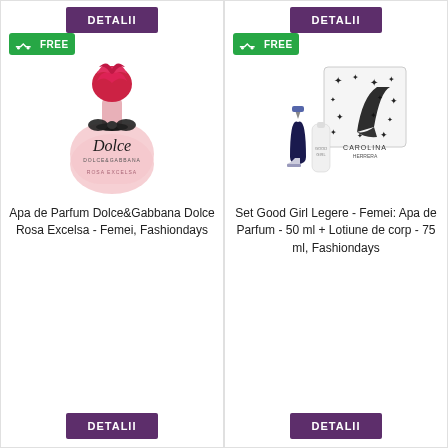[Figure (photo): Product listing grid with two perfume products, each with a FREE shipping badge, product image, title and DETALII button]
Apa de Parfum Dolce&Gabbana Dolce Rosa Excelsa - Femei, Fashiondays
Set Good Girl Legere - Femei: Apa de Parfum - 50 ml + Lotiune de corp - 75 ml, Fashiondays